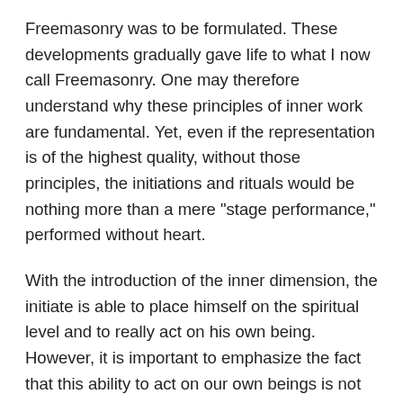Freemasonry was to be formulated. These developments gradually gave life to what I now call Freemasonry. One may therefore understand why these principles of inner work are fundamental. Yet, even if the representation is of the highest quality, without those principles, the initiations and rituals would be nothing more than a mere "stage performance," performed without heart.
With the introduction of the inner dimension, the initiate is able to place himself on the spiritual level and to really act on his own being. However, it is important to emphasize the fact that this ability to act on our own beings is not an automatic by-product of every such attempt: it only comes about by the use of traditional techniques of visualization, pronunciation, concentration, and ritualized ways of moving about in the inner Temple; this elevation only occurs when the